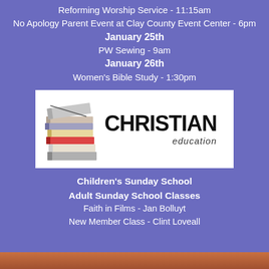Reforming Worship Service - 11:15am
No Apology Parent Event at Clay County Event Center - 6pm
January 25th
PW Sewing - 9am
January 26th
Women's Bible Study - 1:30pm
[Figure (logo): Christian Education logo with stack of books and bold CHRISTIAN text with 'education' subtitle]
Children's Sunday School
Adult Sunday School Classes
Faith in Films - Jan Bolluyt
New Member Class - Clint Loveall
[Figure (photo): Partial photo visible at bottom of page]